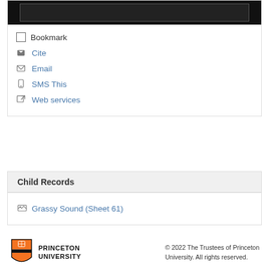[Figure (screenshot): Black image strip at top with a bordered inner element visible]
Bookmark
Cite
Email
SMS This
Web services
Child Records
Grassy Sound (Sheet 61)
© 2022 The Trustees of Princeton University. All rights reserved.